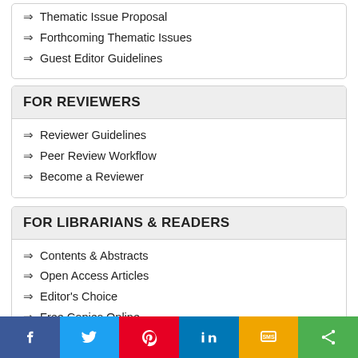⇒ Thematic Issue Proposal
⇒ Forthcoming Thematic Issues
⇒ Guest Editor Guidelines
FOR REVIEWERS
⇒ Reviewer Guidelines
⇒ Peer Review Workflow
⇒ Become a Reviewer
FOR LIBRARIANS & READERS
⇒ Contents & Abstracts
⇒ Open Access Articles
⇒ Editor's Choice
⇒ Free Copies Online
⇒ Thematic Issues
⇒ Journal Catalog 2021
⇒ Journal Catalog 2022
⇒ Most Accessed Articles